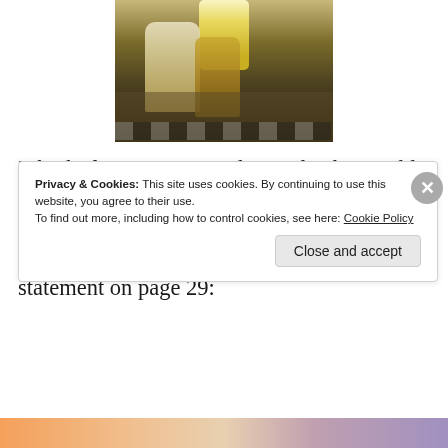[Figure (illustration): A classical painting showing robed figures, one kneeling, with a glowing figure above on a checkered floor background]
I think if Terence were alive today he would agree with the knowledge of a conspiracy to do away with holistic medicine and put in it's stead pharmaceutical poisons, based on his statement on page 29:
Privacy & Cookies: This site uses cookies. By continuing to use this website, you agree to their use.
To find out more, including how to control cookies, see here: Cookie Policy
Close and accept